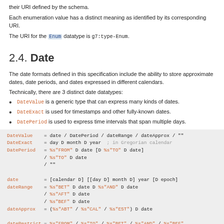their URI defined by the schema.
Each enumeration value has a distinct meaning as identified by its corresponding URI.
The URI for the Enum datatype is g7:type-Enum.
2.4. Date
The date formats defined in this specification include the ability to store approximate dates, date periods, and dates expressed in different calendars.
Technically, there are 3 distinct date datatypes:
DateValue is a generic type that can express many kinds of dates.
DateExact is used for timestamps and other fully-known dates.
DatePeriod is used to express time intervals that span multiple days.
DateValue = date / DatePeriod / dateRange / dateApprox / ""
DateExact = day D month D year ; in Gregorian calendar
DatePeriod = %s"FROM" D date [D %s"TO" D date]
             / %s"TO" D date
             / ""

date = [calendar D] [[day D] month D] year [D epoch]
dateRange = %s"BET" D date D %s"AND" D date
            / %s"AFT" D date
            / %s"BEF" D date
dateApprox = (%s"ABT" / %s"CAL" / %s"EST") D date

dateRestrict = %s"FROM" / %s"TO" / %s"BET" / %s"AND" / %s"BEF"